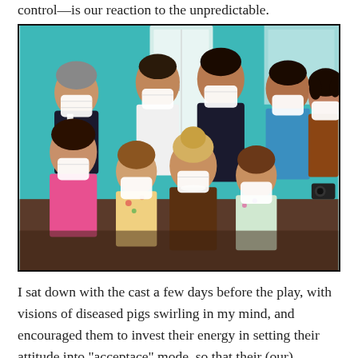control—is our reaction to the unpredictable.
[Figure (photo): Group photo of approximately 9-10 people wearing white surgical/medical face masks, posed together in front of a teal-colored wall with a white door. People are dressed in various colorful outfits including a pink top, floral dress, leopard print, and a dark suit. The group appears to be cast members of a play.]
I sat down with the cast a few days before the play, with visions of diseased pigs swirling in my mind, and encouraged them to invest their energy in setting their attitude into "acceptance" mode, so that their (our)